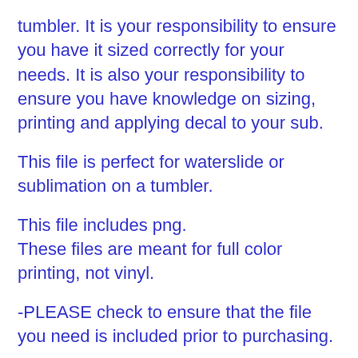tumbler. It is your responsibility to ensure you have it sized correctly for your needs. It is also your responsibility to ensure you have knowledge on sizing, printing and applying decal to your sub.
This file is perfect for waterslide or sublimation on a tumbler.
This file includes png.
These files are meant for full color printing, not vinyl.
-PLEASE check to ensure that the file you need is included prior to purchasing.